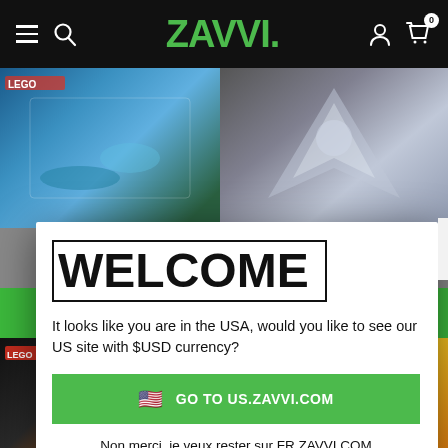[Figure (screenshot): Zavvi website navigation bar with hamburger menu, search icon, green Zavvi logo, user icon, and cart icon with 0 badge]
[Figure (photo): Background product images: LEGO sets including a water scene and a spaceship on top, LEGO Infinity and LEGO Duplo sets on bottom]
WELCOME
It looks like you are in the USA, would you like to see our US site with $USD currency?
🇺🇸 GO TO US.ZAVVI.COM
Non merci, je veux rester sur FR.ZAVVI.COM